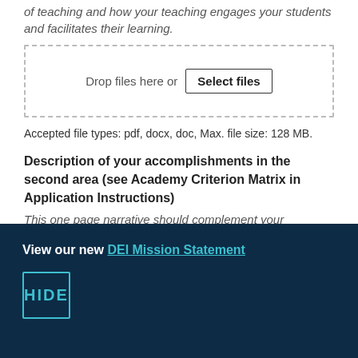of teaching and how your teaching engages your students and facilitates their learning.
[Figure (other): File upload drop zone with dashed border containing text 'Drop files here or' and a 'Select files' button]
Accepted file types: pdf, docx, doc, Max. file size: 128 MB.
Description of your accomplishments in the second area (see Academy Criterion Matrix in Application Instructions)
This one page narrative should complement your
View our new DEI Mission Statement
HIDE